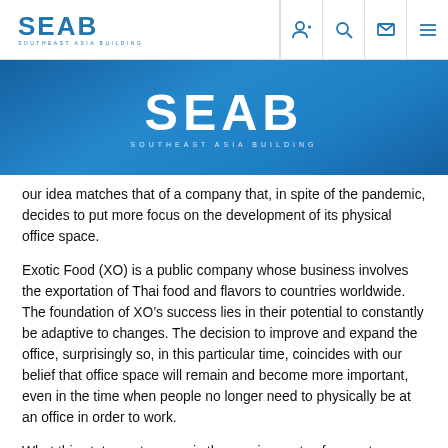SEAB SOUTHEAST ASIA BUILDING
[Figure (logo): SEAB Southeast Asia Building logo on blue gradient banner background]
our idea matches that of a company that, in spite of the pandemic, decides to put more focus on the development of its physical office space.
Exotic Food (XO) is a public company whose business involves the exportation of Thai food and flavors to countries worldwide. The foundation of XO’s success lies in their potential to constantly be adaptive to changes. The decision to improve and expand the office, surprisingly so, in this particular time, coincides with our belief that office space will remain and become more important, even in the time when people no longer need to physically be at an office in order to work.
What this statement means is the requirements of current